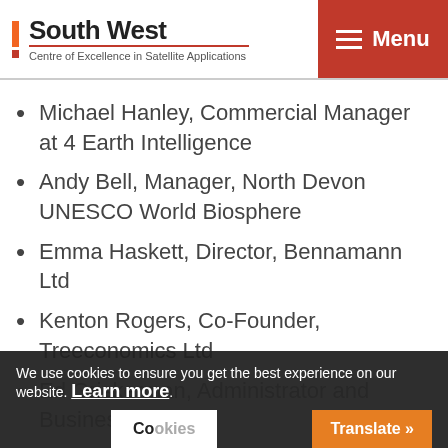South West Centre of Excellence in Satellite Applications | Menu
Michael Hanley, Commercial Manager at 4 Earth Intelligence
Andy Bell, Manager, North Devon UNESCO World Biosphere
Emma Haskett, Director, Bennamann Ltd
Kenton Rogers, Co-Founder, Treeconomics Ltd
Ed Griskerman, Administrator and Business... (partially obscured)
We use cookies to ensure you get the best experience on our website. Learn more.
Cookies | Translate »